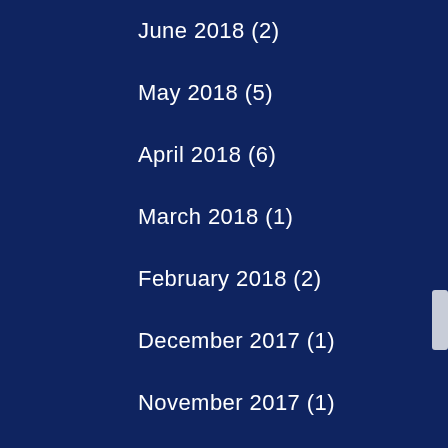June 2018 (2)
May 2018 (5)
April 2018 (6)
March 2018 (1)
February 2018 (2)
December 2017 (1)
November 2017 (1)
October 2017 (5)